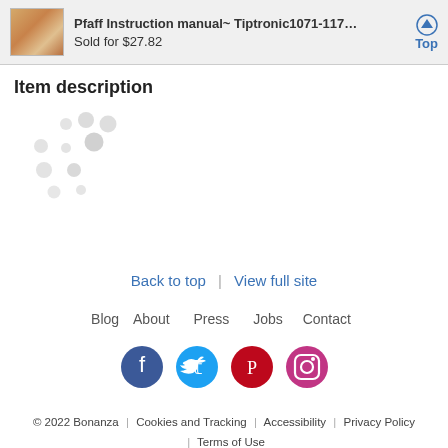Pfaff Instruction manual~ Tiptronic1071-1171 instr... | Sold for $27.82 | Top
Item description
[Figure (other): Loading spinner dots animation placeholder]
Back to top | View full site
Blog   About   Press   Jobs   Contact
[Figure (other): Social media icons: Facebook, Twitter, Pinterest, Instagram]
© 2022 Bonanza | Cookies and Tracking | Accessibility | Privacy Policy | Terms of Use